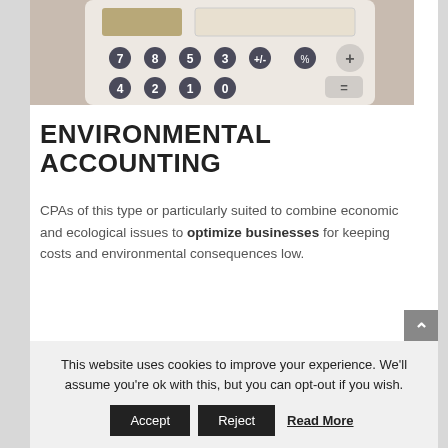[Figure (photo): Close-up photo of a calculator with dark rounded keys showing numbers 7, 4, 1, 8, 5, 2, 3, 0 and symbols including +/-.]
ENVIRONMENTAL ACCOUNTING
CPAs of this type or particularly suited to combine economic and ecological issues to optimize businesses for keeping costs and environmental consequences low.
The importance of such individuals is becoming increasingly apparent because of current scientific
This website uses cookies to improve your experience. We'll assume you're ok with this, but you can opt-out if you wish.